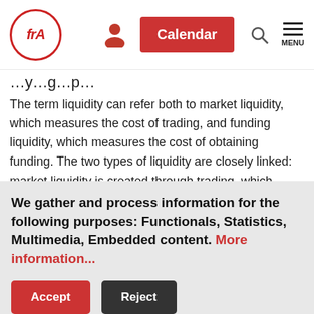frA | Calendar | MENU
The term liquidity can refer both to market liquidity, which measures the cost of trading, and funding liquidity, which measures the cost of obtaining funding. The two types of liquidity are closely linked: market liquidity is created through trading, which requires funding liquidity; conversely, an important source of funding liquidity is the conversion of long-term assets into liquid means, and this depends on market liquidity.
We gather and process information for the following purposes: Functionals, Statistics, Multimedia, Embedded content. More information...